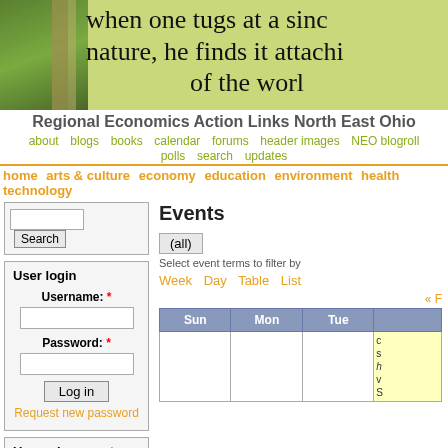[Figure (photo): Website header banner with photo of stone columns and yellow-green background with handwritten text: 'when one tugs at a single strand of nature, he finds it attached to the rest of the world']
Regional Economics Action Links North East Ohio
about  blogs  books  calendar  forums  header images  NEO blogroll  polls  search  updates
home  arts & culture  economy  education  environment  health  technology
Search
User login
Username: *
Password: *
Log in
Request new password
Upcoming events
FRONT 2022
(Now)
Events
(all)
Select event terms to filter by
Week  Day  Table  List
« F
| Sun | Mon | Tue |
| --- | --- | --- |
|  |  |  |